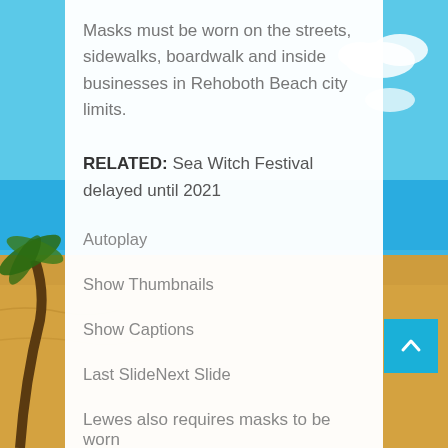Masks must be worn on the streets, sidewalks, boardwalk and inside businesses in Rehoboth Beach city limits.
RELATED: Sea Witch Festival delayed until 2021
Autoplay
Show Thumbnails
Show Captions
Last SlideNext Slide
Lewes also requires masks to be worn